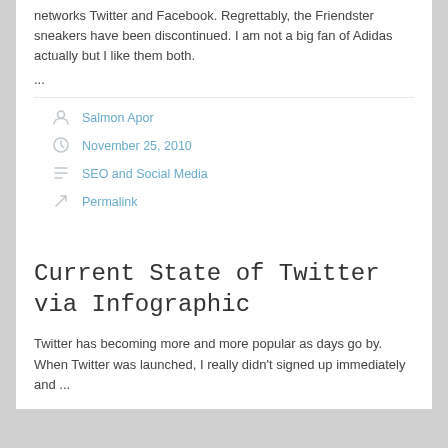networks Twitter and Facebook. Regrettably, the Friendster sneakers have been discontinued. I am not a big fan of Adidas actually but I like them both.
...
Salmon Apor
November 25, 2010
SEO and Social Media
Permalink
Current State of Twitter via Infographic
Twitter has becoming more and more popular as days go by. When Twitter was launched, I really didn't signed up immediately and ...